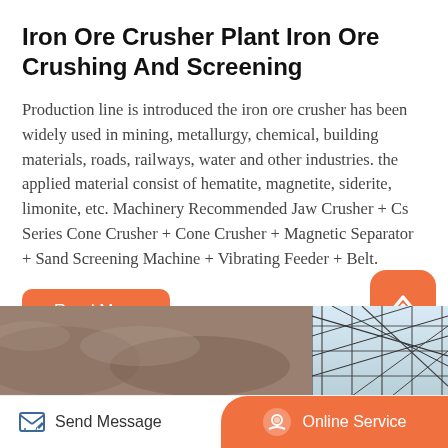Iron Ore Crusher Plant Iron Ore Crushing And Screening
Production line is introduced the iron ore crusher has been widely used in mining, metallurgy, chemical, building materials, roads, railways, water and other industries. the applied material consist of hematite, magnetite, siderite, limonite, etc. Machinery Recommended Jaw Crusher + Cs Series Cone Crusher + Cone Crusher + Magnetic Separator + Sand Screening Machine + Vibrating Feeder + Belt.
[Figure (photo): Industrial iron ore crusher plant showing steel structure scaffolding and rocky terrain.]
Send Message | Online Service